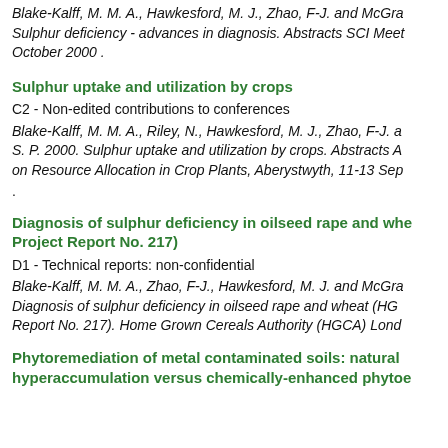Blake-Kalff, M. M. A., Hawkesford, M. J., Zhao, F-J. and McGra
Sulphur deficiency - advances in diagnosis. Abstracts SCI Meet
October 2000 .
Sulphur uptake and utilization by crops
C2 - Non-edited contributions to conferences
Blake-Kalff, M. M. A., Riley, N., Hawkesford, M. J., Zhao, F-J. a
S. P. 2000. Sulphur uptake and utilization by crops. Abstracts A
on Resource Allocation in Crop Plants, Aberystwyth, 11-13 Sep
.
Diagnosis of sulphur deficiency in oilseed rape and whe
Project Report No. 217)
D1 - Technical reports: non-confidential
Blake-Kalff, M. M. A., Zhao, F-J., Hawkesford, M. J. and McGra
Diagnosis of sulphur deficiency in oilseed rape and wheat (HG
Report No. 217). Home Grown Cereals Authority (HGCA) Lond
Phytoremediation of metal contaminated soils: natural
hyperaccumulation versus chemically-enhanced phytoe